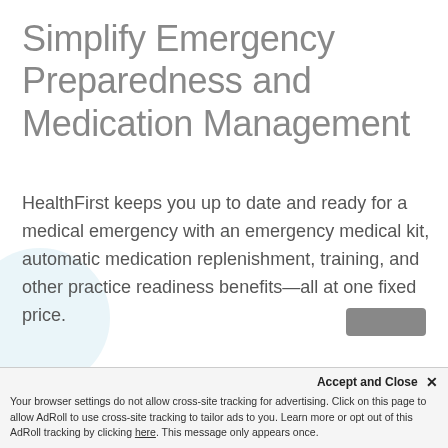Simplify Emergency Preparedness and Medication Management
HealthFirst keeps you up to date and ready for a medical emergency with an emergency medical kit, automatic medication replenishment, training, and other practice readiness benefits—all at one fixed price.
Accept and Close ×
Your browser settings do not allow cross-site tracking for advertising. Click on this page to allow AdRoll to use cross-site tracking to tailor ads to you. Learn more or opt out of this AdRoll tracking by clicking here. This message only appears once.